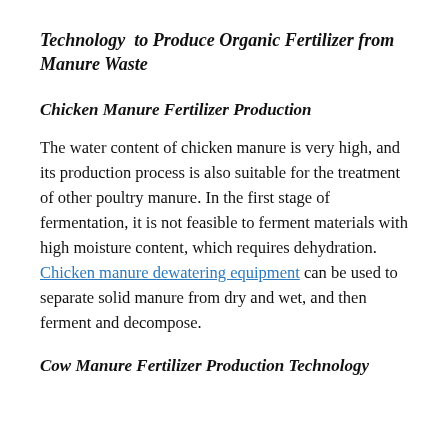Technology to Produce Organic Fertilizer from Manure Waste
Chicken Manure Fertilizer Production
The water content of chicken manure is very high, and its production process is also suitable for the treatment of other poultry manure. In the first stage of fermentation, it is not feasible to ferment materials with high moisture content, which requires dehydration. Chicken manure dewatering equipment can be used to separate solid manure from dry and wet, and then ferment and decompose.
Cow Manure Fertilizer Production Technology